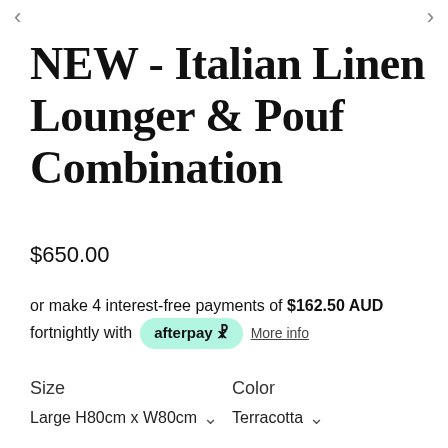NEW - Italian Linen Lounger & Pouf Combination
$650.00
or make 4 interest-free payments of $162.50 AUD fortnightly with afterpay More info
Size
Color
Large H80cm x W80cm
Terracotta